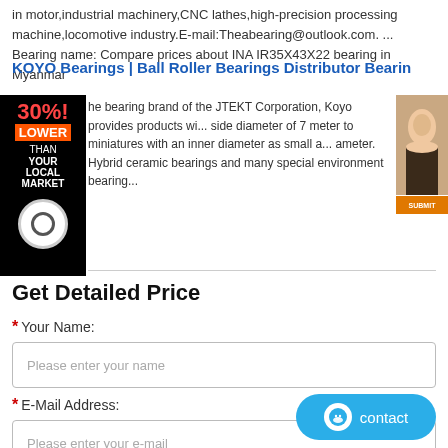in motor,industrial machinery,CNC lathes,high-precision processing machine,locomotive industry.E-mail:Theabearing@outlook.com. ... Bearing name: Compare prices about INA IR35X43X22 bearing in Myanmar
KOYO Bearings | Ball Roller Bearings Distributor Bearin
[Figure (infographic): Black advertisement banner showing '30% LOWER THAN YOUR LOCAL MARKET' with a circular bearing icon at the bottom]
[Figure (photo): Side photo panel showing a woman's face with an orange button below]
he bearing brand of the JTEKT Corporation, Koyo provides products wi... side diameter of 7 meter to miniatures with an inner diameter as small a... ameter. Hybrid ceramic bearings and many special environment bearing...
Get Detailed Price
* Your Name:
Please enter your name
* E-Mail Address:
Please enter your e-mail
[Figure (infographic): Blue rounded contact button with smiley face icon and 'contact' text]